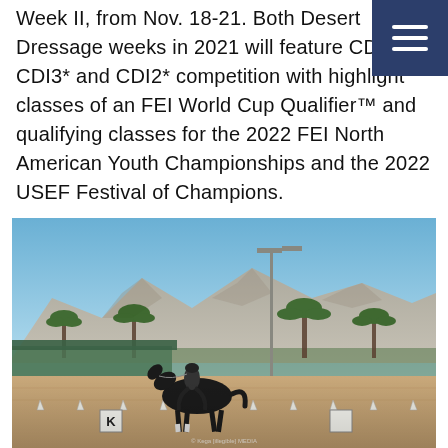Week II, from Nov. 18-21. Both Desert Dressage weeks in 2021 will feature CDI-W, CDI3* and CDI2* competition with highlight classes of an FEI World Cup Qualifier™ and qualifying classes for the 2022 FEI North American Youth Championships and the 2022 USEF Festival of Champions.
[Figure (photo): A rider on a black horse performing dressage in an outdoor arena with mountain scenery and palm trees in the background. A letter 'K' marker is visible on the arena rail.]